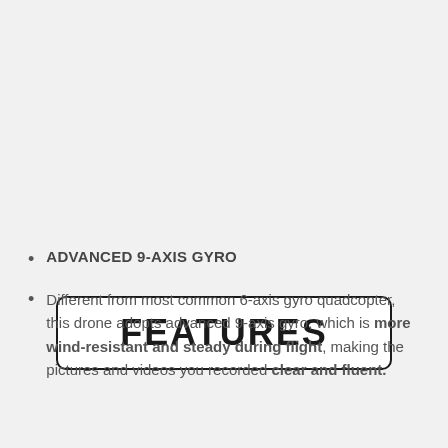FEATURES
ADVANCED 9-AXIS GYRO
Different from most common 6-axis gyro quadcopter, this drone adopts advanced 9-axis gyro, which is more wind-resistant and steady during flight, making the pictures and videos you recorded clear and fluent.